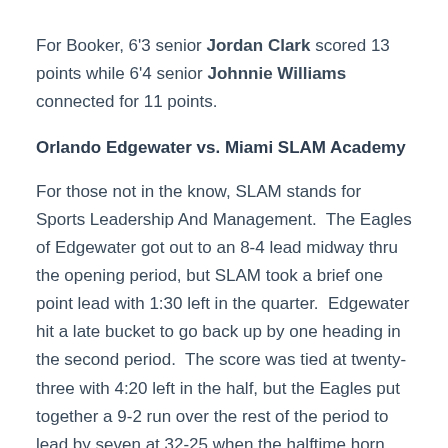For Booker, 6'3 senior Jordan Clark scored 13 points while 6'4 senior Johnnie Williams connected for 11 points.
Orlando Edgewater vs. Miami SLAM Academy
For those not in the know, SLAM stands for Sports Leadership And Management.  The Eagles of Edgewater got out to an 8-4 lead midway thru the opening period, but SLAM took a brief one point lead with 1:30 left in the quarter.  Edgewater hit a late bucket to go back up by one heading in the second period.  The score was tied at twenty-three with 4:20 left in the half, but the Eagles put together a 9-2 run over the rest of the period to lead by seven at 32-25 when the halftime horn sounded.
That spurt was what Edgewater needed to keep and maintain a lead in the second half.  SLAM pulled within five points a